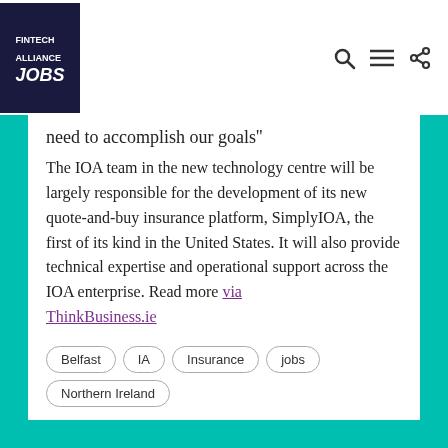Fintech Alliance Jobs
need to accomplish our goals''
The IOA team in the new technology centre will be largely responsible for the development of its new quote-and-buy insurance platform, SimplyIOA, the first of its kind in the United States. It will also provide technical expertise and operational support across the IOA enterprise. Read more via ThinkBusiness.ie
Belfast
IA
Insurance
jobs
Northern Ireland